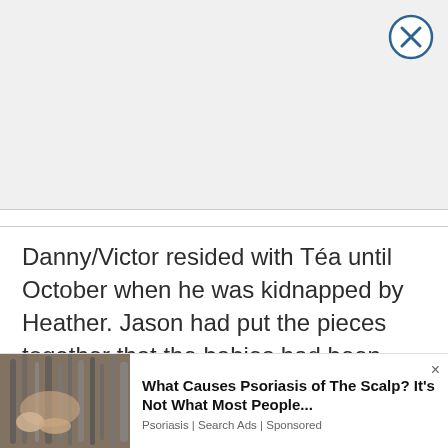[Figure (other): Advertisement banner area, light gray background with close (X) button in top-right corner]
Danny/Victor resided with Téa until October when he was kidnapped by Heather. Jason had put the pieces together that the babies had been switched, but Heather had managed to remain a step ahead of him. Heather returned to Port Charles then made her way to Steve's apartment to introduce him to his "brother." Steve knew that the boy
[Figure (other): Bottom advertisement: image of a scalp with gray hair being examined, next to text 'What Causes Psoriasis of The Scalp? It's Not What Most People...' sourced from 'Psoriasis | Search Ads | Sponsored']